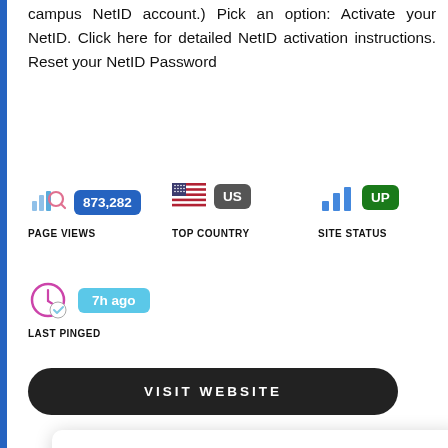campus NetID account.) Pick an option: Activate your NetID. Click here for detailed NetID activation instructions. Reset your NetID Password
[Figure (infographic): Page views stat: icon of chart with magnifying glass, badge '873,282', label 'PAGE VIEWS']
[Figure (infographic): Top country stat: US flag icon, badge 'US', label 'TOP COUNTRY']
[Figure (infographic): Site status stat: bar chart icon, badge 'UP' in green, label 'SITE STATUS']
[Figure (infographic): Last pinged stat: clock icon with checkmark, badge '7h ago', label 'LAST PINGED']
VISIT WEBSITE
By using our website you agree to the use of cookies. You can find details on how we use cookies in our Privacy Policy
Login To Email - Division